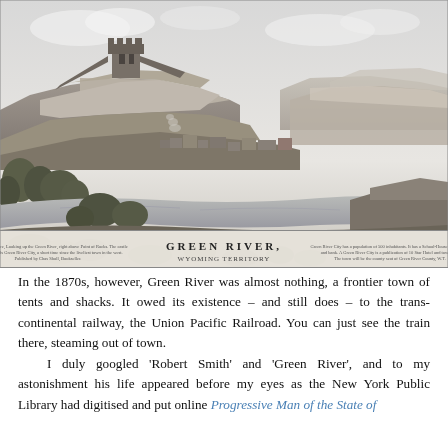[Figure (illustration): Historical engraving titled 'View of Green River, Wyoming Territory'. Shows a panoramic landscape with a large butte/mesa with a stone tower or castle ruin on top, a small frontier town along a river in the middle distance, trees and vegetation in the foreground, and flat-topped mesas in the background. The image caption reads 'GREEN RIVER, WYOMING TERRITORY' in the lower center. Small text appears on the lower left and right of the image caption.]
In the 1870s, however, Green River was almost nothing, a frontier town of tents and shacks. It owed its existence – and still does – to the trans-continental railway, the Union Pacific Railroad. You can just see the train there, steaming out of town.
	I duly googled 'Robert Smith' and 'Green River', and to my astonishment his life appeared before my eyes as the New York Public Library had digitised and put online Progressive Man of the State of